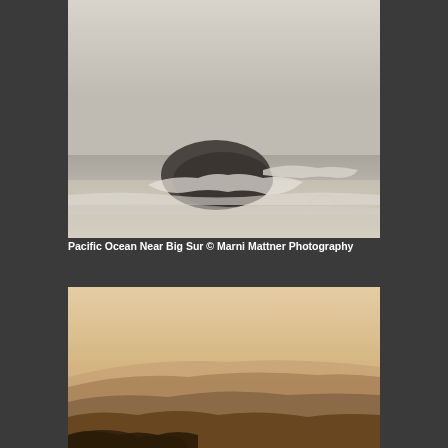[Figure (photo): Misty coastal ocean scene near Big Sur, California — dark rock formation with waves crashing around it, foggy grey sky, sandy beach in foreground, watermark of Marni Mattner Photography in lower right corner]
Pacific Ocean Near Big Sur © Marni Mattner Photography
[Figure (photo): Warm golden-hued coastal mountain landscape, layered silhouetted hills receding into misty haze at sunset or sunrise, foreground rocks partially visible, watermark of Marni Mattner Photography visible in upper right]